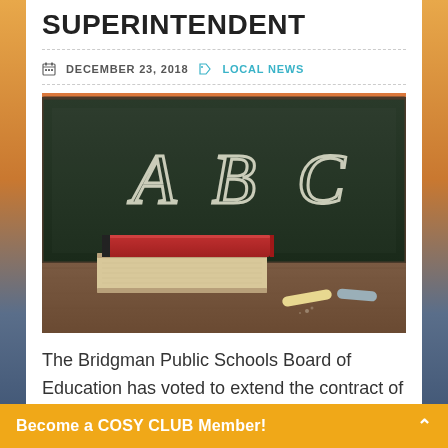SUPERINTENDENT
DECEMBER 23, 2018   LOCAL NEWS
[Figure (photo): A chalkboard with 'ABC' written in chalk, with two stacked books (red cover on top) and two pieces of chalk resting on a wooden desk surface.]
The Bridgman Public Schools Board of Education has voted to extend the contract of Superintendent Shane Peters by three years.
Become a COSY CLUB Member!